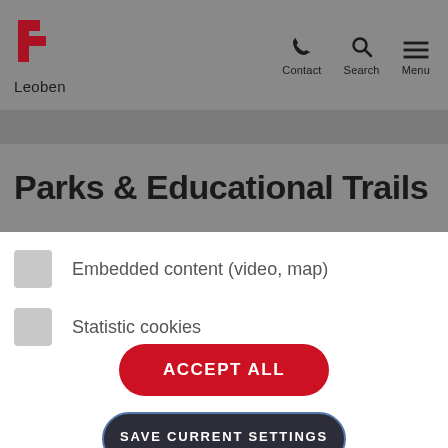[Figure (logo): Leoben city logo — red square bracket letter mark with text 'Leoben' below]
Parks & Educational Trails
Embedded content (video, map)
Statistic cookies
ACCEPT ALL
SAVE CURRENT SETTINGS